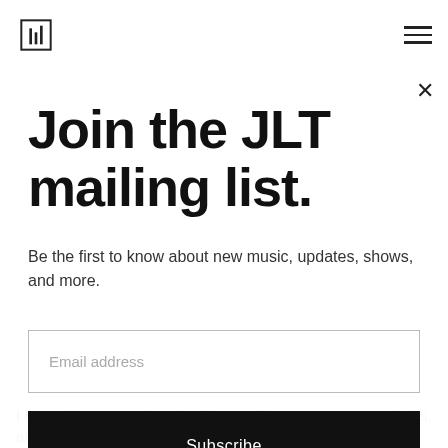JLT logo and navigation menu
Join the JLT mailing list.
Be the first to know about new music, updates, shows, and more.
Email address
Subscribe
I have this uncanny knack of internalizing pressures, anxieties, and stresses to the point of physical